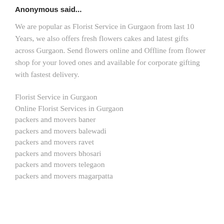Anonymous said...
We are popular as Florist Service in Gurgaon from last 10 Years, we also offers fresh flowers cakes and latest gifts across Gurgaon. Send flowers online and Offline from flower shop for your loved ones and available for corporate gifting with fastest delivery.
Florist Service in Gurgaon
Online Florist Services in Gurgaon
packers and movers baner
packers and movers balewadi
packers and movers ravet
packers and movers bhosari
packers and movers telegaon
packers and movers magarpatta